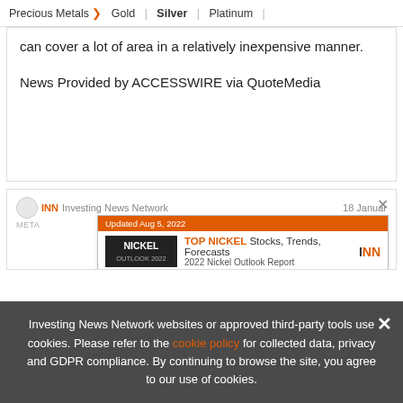Precious Metals > Gold | Silver | Platinum |
can cover a lot of area in a relatively inexpensive manner.
News Provided by ACCESSWIRE via QuoteMedia
[Figure (screenshot): INN Investing News Network card with date 18 January, showing a Nickel Outlook 2022 ad banner with text 'Updated Aug 5, 2022', 'TOP NICKEL Stocks, Trends, Forecasts', '2022 Nickel Outlook Report', and INN logo. Also shows 'Amy and Silverknife' partially visible text.]
Investing News Network websites or approved third-party tools use cookies. Please refer to the cookie policy for collected data, privacy and GDPR compliance. By continuing to browse the site, you agree to our use of cookies.